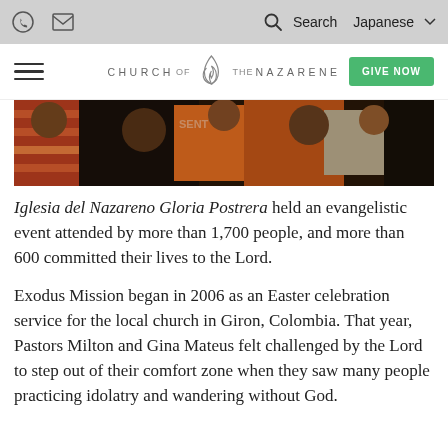Church of the Nazarene website header with phone icon, mail icon, search icon, Search, Japanese dropdown, hamburger menu, Church of the Nazarene logo, GIVE NOW button
[Figure (photo): A group of people outdoors, appearing to be at an evangelistic event, with colorful clothing including orange, striped, and white shirts. The photo is cropped to show the crowd from approximately waist level.]
Iglesia del Nazareno Gloria Postrera held an evangelistic event attended by more than 1,700 people, and more than 600 committed their lives to the Lord.
Exodus Mission began in 2006 as an Easter celebration service for the local church in Giron, Colombia. That year, Pastors Milton and Gina Mateus felt challenged by the Lord to step out of their comfort zone when they saw many people practicing idolatry and wandering without God.